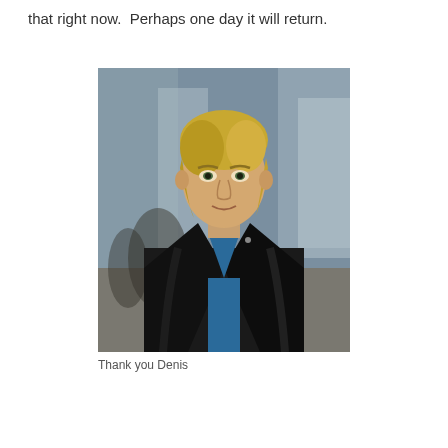that right now.  Perhaps one day it will return.
[Figure (photo): Portrait photo of a man with blonde hair wearing a black leather jacket over a blue shirt, standing on a city street with blurred background of buildings and pedestrians.]
Thank you Denis